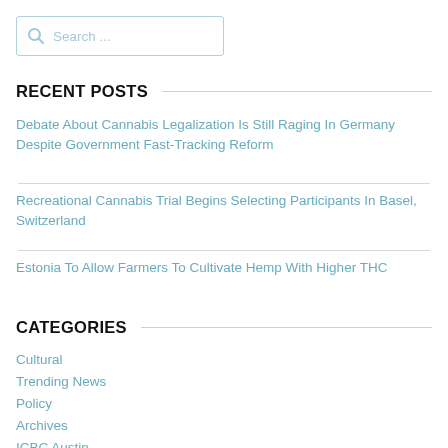[Figure (other): Search input box with magnifying glass icon and placeholder text 'Search ...']
RECENT POSTS
Debate About Cannabis Legalization Is Still Raging In Germany Despite Government Fast-Tracking Reform
Recreational Cannabis Trial Begins Selecting Participants In Basel, Switzerland
Estonia To Allow Farmers To Cultivate Hemp With Higher THC
CATEGORIES
Cultural
Trending News
Policy
Archives
ICBC Austin